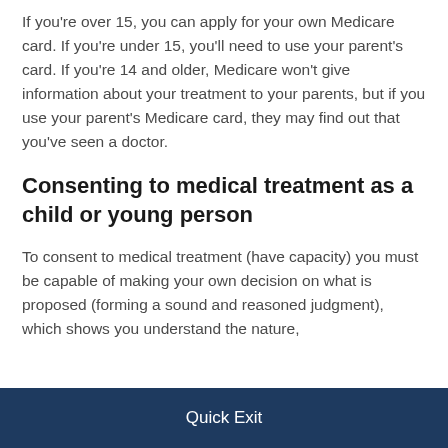If you're over 15, you can apply for your own Medicare card. If you're under 15, you'll need to use your parent's card. If you're 14 and older, Medicare won't give information about your treatment to your parents, but if you use your parent's Medicare card, they may find out that you've seen a doctor.
Consenting to medical treatment as a child or young person
To consent to medical treatment (have capacity) you must be capable of making your own decision on what is proposed (forming a sound and reasoned judgment), which shows you understand the nature,
Quick Exit